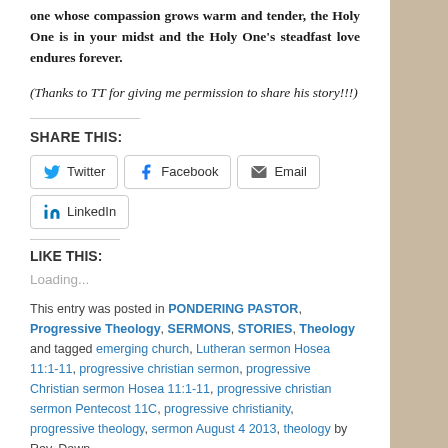one whose compassion grows warm and tender, the Holy One is in your midst and the Holy One's steadfast love endures forever.
(Thanks to TT for giving me permission to share his story!!!)
SHARE THIS:
Twitter  Facebook  Email  LinkedIn
LIKE THIS:
Loading...
This entry was posted in PONDERING PASTOR, Progressive Theology, SERMONS, STORIES, Theology and tagged emerging church, Lutheran sermon Hosea 11:1-11, progressive christian sermon, progressive Christian sermon Hosea 11:1-11, progressive christian sermon Pentecost 11C, progressive christianity, progressive theology, sermon August 4 2013, theology by Rev. Dawn